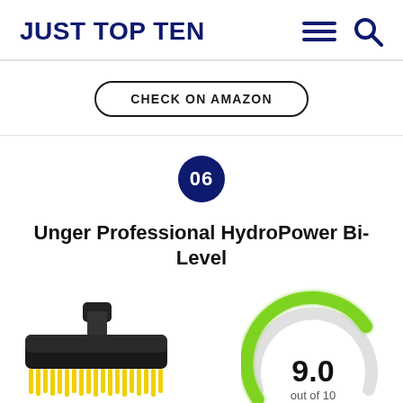JUST TOP TEN
CHECK ON AMAZON
06
Unger Professional HydroPower Bi-Level
[Figure (illustration): Black and yellow bi-level scrub brush product image]
[Figure (other): Gauge/speedometer showing score 9.0 out of 10 with green arc]